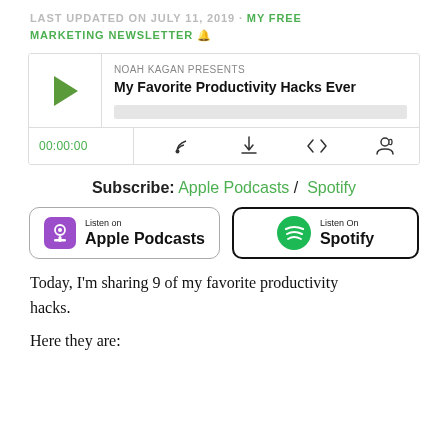LAST UPDATED ON JULY 11, 2019 · MY FREE MARKETING NEWSLETTER 🔔
[Figure (other): Podcast player widget for 'Noah Kagan Presents – My Favorite Productivity Hacks Ever' with play button, progress bar, time 00:00:00, and controls (RSS, download, embed, share)]
Subscribe: Apple Podcasts / Spotify
[Figure (other): Listen on Apple Podcasts badge with purple podcast icon]
[Figure (other): Listen On Spotify badge with green Spotify logo]
Today, I'm sharing 9 of my favorite productivity hacks.
Here they are: